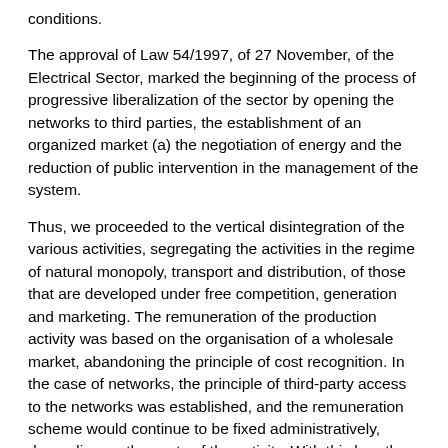conditions.
The approval of Law 54/1997, of 27 November, of the Electrical Sector, marked the beginning of the process of progressive liberalization of the sector by opening the networks to third parties, the establishment of an organized market (a) the negotiation of energy and the reduction of public intervention in the management of the system.
Thus, we proceeded to the vertical disintegration of the various activities, segregating the activities in the regime of natural monopoly, transport and distribution, of those that are developed under free competition, generation and marketing. The remuneration of the production activity was based on the organisation of a wholesale market, abandoning the principle of cost recognition. In the case of networks, the principle of third-party access to the networks was established, and the remuneration scheme would continue to be fixed administratively, depending on the costs of the activity. With this law, the activity of the marketing of electrical energy was also an independent activity of the rest of the activities destined to the supply, activity that was endowed with a normative framework to allow the freedom of procurement and choice by consumers. Finally, the management of the system was entrusted to commercial